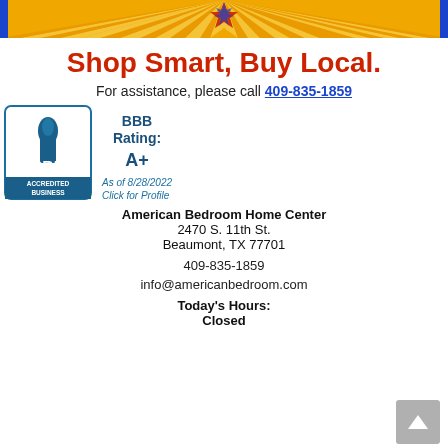[Figure (illustration): Colorful banner with yellow sunburst rays and red/blue star logo at center, with blue border strips on sides]
Shop Smart, Buy Local.
For assistance, please call 409-835-1859
[Figure (logo): BBB Accredited Business seal with blue torch logo and BBB Rating: A+ as of 8/28/2022. Click for Profile.]
American Bedroom Home Center
2470 S. 11th St.
Beaumont, TX 77701
409-835-1859
info@americanbedroom.com
Today's Hours:
Closed